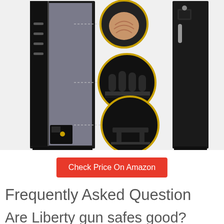[Figure (photo): Product photo of a gun safe shown open (left) displaying interior with hooks on door and small internal compartment with LED indicator, two detail circle callouts showing foam pegs and shelf organizer details, and a closed gun safe (right) showing keypad and handle.]
Check Price On Amazon
Frequently Asked Question
Are Liberty gun safes good?